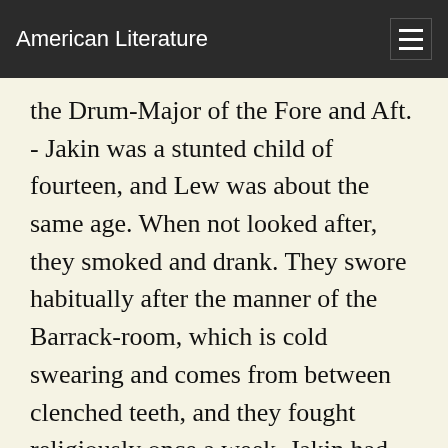American Literature
the Drum-Major of the Fore and Aft. - Jakin was a stunted child of fourteen, and Lew was about the same age. When not looked after, they smoked and drank. They swore habitually after the manner of the Barrack-room, which is cold swearing and comes from between clenched teeth, and they fought religiously once a week. Jakin had sprung from some London gutter, and may or may not have passed through Dr. Barnardo's hands ere he arrived at the dignity of drummer-boy. Lew could remember nothing except the Regiment and the delight of listening to the Band from his earliest years. He hid somewhere in his grimy little soul a genuine love for music, and was most mistakenly furnished with the